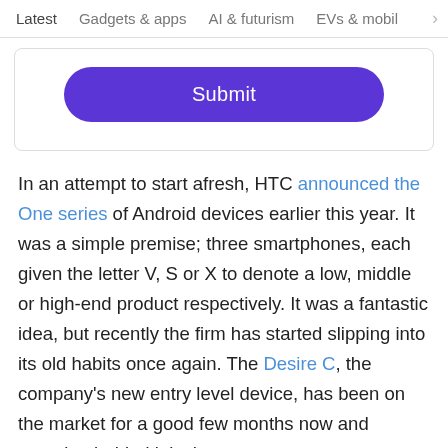Latest   Gadgets & apps   AI & futurism   EVs & mobil  >
[Figure (screenshot): A purple rounded rectangle Submit button on a white card with border]
In an attempt to start afresh, HTC announced the One series of Android devices earlier this year. It was a simple premise; three smartphones, each given the letter V, S or X to denote a low, middle or high-end product respectively. It was a fantastic idea, but recently the firm has started slipping into its old habits once again. The Desire C, the company's new entry level device, has been on the market for a good few months now and storming behind it is the